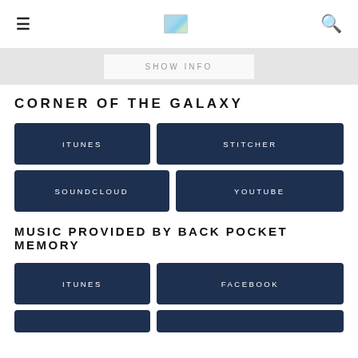≡  [logo]  🔍
SHOW INFO
CORNER OF THE GALAXY
ITUNES
STITCHER
SOUNDCLOUD
YOUTUBE
MUSIC PROVIDED BY BACK POCKET MEMORY
ITUNES
FACEBOOK